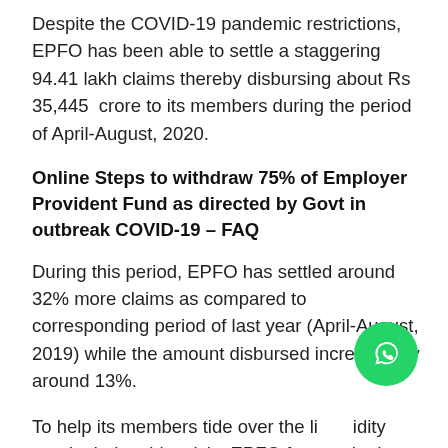Despite the COVID-19 pandemic restrictions, EPFO has been able to settle a staggering 94.41 lakh claims thereby disbursing about Rs 35,445  crore to its members during the period of April-August, 2020.
Online Steps to withdraw 75% of Employer Provident Fund as directed by Govt in outbreak COVID-19 – FAQ
During this period, EPFO has settled around 32% more claims as compared to corresponding period of last year (April-August, 2019) while the amount disbursed increased by around 13%.
To help its members tide over the liquidity needs during this crisis, EPFO fast tracked settlement of COVID-19 advances and illness related claims and introduced auto mode for the quest for the next auto review of